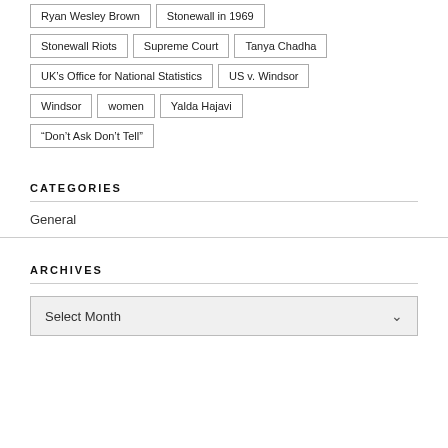Ryan Wesley Brown
Stonewall in 1969
Stonewall Riots
Supreme Court
Tanya Chadha
UK's Office for National Statistics
US v. Windsor
Windsor
women
Yalda Hajavi
“Don’t Ask Don’t Tell”
CATEGORIES
General
ARCHIVES
Select Month